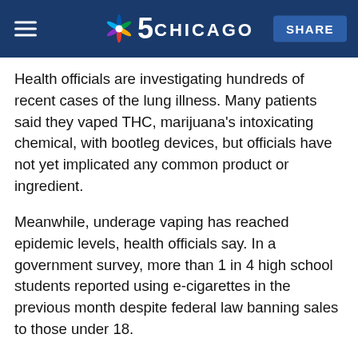NBC 5 Chicago — SHARE
Health officials are investigating hundreds of recent cases of the lung illness. Many patients said they vaped THC, marijuana's intoxicating chemical, with bootleg devices, but officials have not yet implicated any common product or ingredient.
Meanwhile, underage vaping has reached epidemic levels, health officials say. In a government survey, more than 1 in 4 high school students reported using e-cigarettes in the previous month despite federal law banning sales to those under 18.
Former FDA commissioner, Dr. Scott Gottlieb, cautioned that the illnesses and teen vaping are separate problems that will likely require unique solutions.